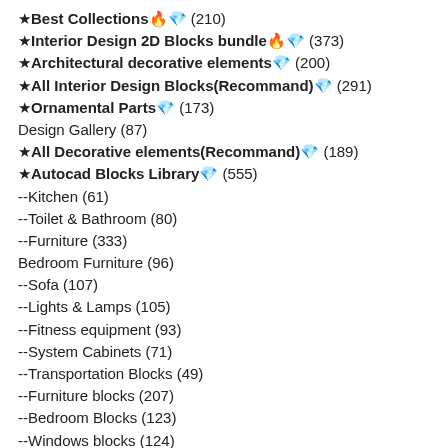★Best Collections🔥💎 (210)
★Interior Design 2D Blocks bundle🔥💎 (373)
★Architectural decorative elements💎 (200)
★All Interior Design Blocks(Recommand)💎 (291)
★Ornamental Parts💎 (173)
Design Gallery (87)
★All Decorative elements(Recommand)💎 (189)
★Autocad Blocks Library💎 (555)
--Kitchen (61)
--Toilet & Bathroom (80)
--Furniture (333)
Bedroom Furniture (96)
--Sofa (107)
--Lights & Lamps (105)
--Fitness equipment (93)
--System Cabinets (71)
--Transportation Blocks (49)
--Furniture blocks (207)
--Bedroom Blocks (123)
--Windows blocks (124)